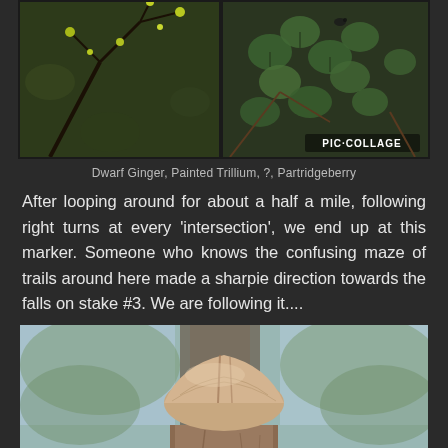[Figure (photo): Photo collage of four nature plants: Dwarf Ginger (yellow-green flowers on branch), Painted Trillium, unknown plant, and Partridgeberry (round green leaves). PIC·COLLAGE watermark visible in bottom right.]
Dwarf Ginger, Painted Trillium, ?, Partridgeberry
After looping around for about a half a mile, following right turns at every 'intersection', we end up at this marker. Someone who knows the confusing maze of trails around here made a sharpie direction towards the falls on stake #3. We are following it....
[Figure (photo): Close-up photograph of a wooden trail marker post with a rounded dome-shaped top, against a blurry forest background with trees.]